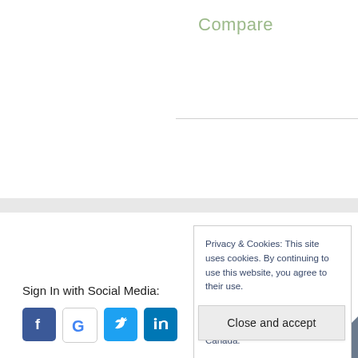Compare
Privacy & Cookies: This site uses cookies. By continuing to use this website, you agree to their use.

PAT RESEARCH, 265 Port Union Road, Toronto, M1C 4Z7, Canada.

To find out more, about our Privacy Policy, and ToS including how to control cookies, see here: Privacy & Cookie Policy
Close and accept
Sign In with Social Media: